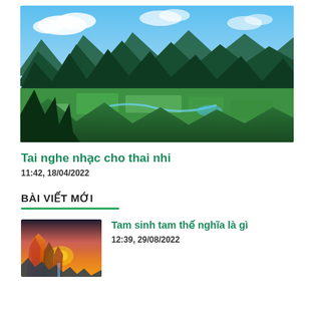[Figure (photo): Aerial panoramic view of Vietnamese karst mountain landscape with green rice fields, rivers, and blue sky with clouds]
Tai nghe nhạc cho thai nhi
11:42, 18/04/2022
BÀI VIẾT MỚI
[Figure (photo): Autumn forest scene with orange and yellow trees at sunset with rocky cliffs]
Tam sinh tam thế nghĩa là gì
12:39, 29/08/2022